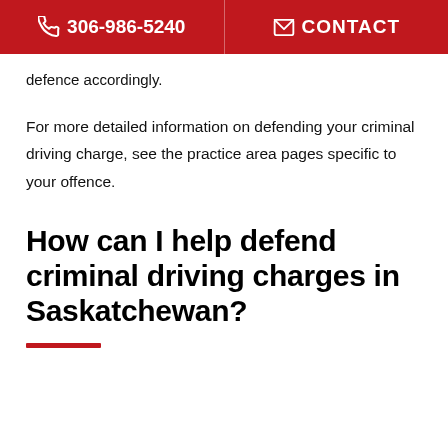306-986-5240   CONTACT
defence accordingly.
For more detailed information on defending your criminal driving charge, see the practice area pages specific to your offence.
How can I help defend criminal driving charges in Saskatchewan?